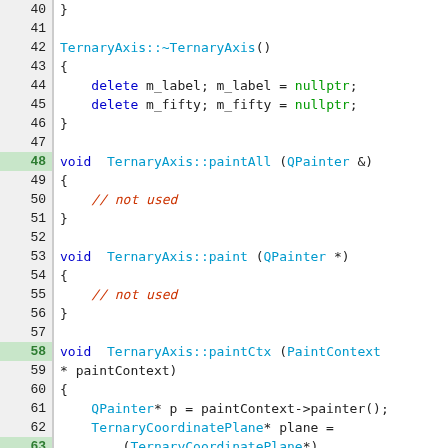[Figure (screenshot): Source code viewer showing C++ code for TernaryAxis class, lines 40-69, with syntax highlighting and line numbers. Keywords in blue, function/type names in cyan, comments in red-orange, green highlighted lines for certain line numbers.]